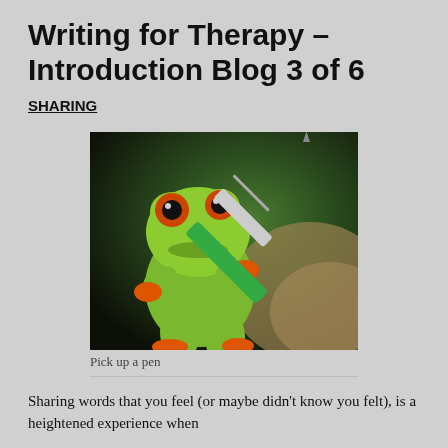Writing for Therapy – Introduction Blog 3 of 6
SHARING
[Figure (photo): A green tree frog figurine holding a green and silver pen, posed as if writing, on a blurred natural background.]
Pick up a pen
Sharing words that you feel (or maybe didn't know you felt), is a heightened experience when